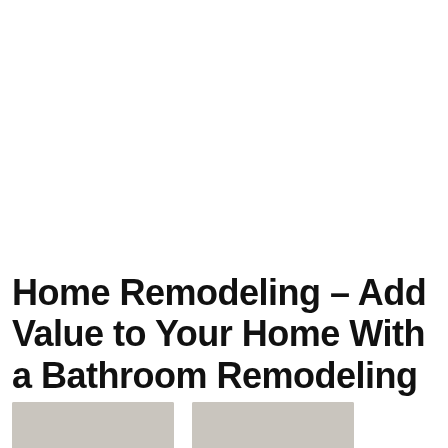Home Remodeling – Add Value to Your Home With a Bathroom Remodeling Project
[Figure (photo): Two partially visible bathroom or interior photos side by side at the bottom of the page, showing light-colored surfaces (ceiling/walls). A scroll-to-top button is visible in the lower right corner.]